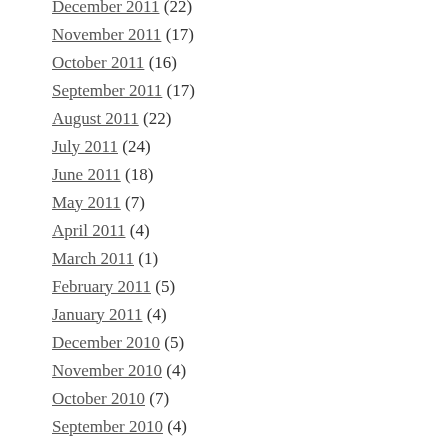December 2011 (22)
November 2011 (17)
October 2011 (16)
September 2011 (17)
August 2011 (22)
July 2011 (24)
June 2011 (18)
May 2011 (7)
April 2011 (4)
March 2011 (1)
February 2011 (5)
January 2011 (4)
December 2010 (5)
November 2010 (4)
October 2010 (7)
September 2010 (4)
August 2010 (8)
July 2010 (5)